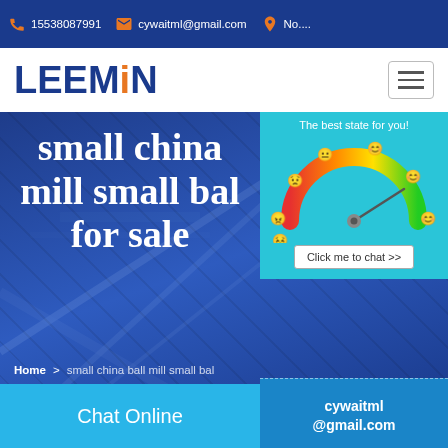15538087991   cywaitml@gmail.com   No....
[Figure (logo): LEEMIN logo in blue with orange accent on letter I]
small china mill small ball for sale
[Figure (infographic): Satisfaction gauge/meter widget with emoji faces and rainbow arc from red to green, labeled 'The best state for you!']
Click me to chat >>
Enquiry
Home > small china ball mill small ball
Chat Online
cywaitml@gmail.com